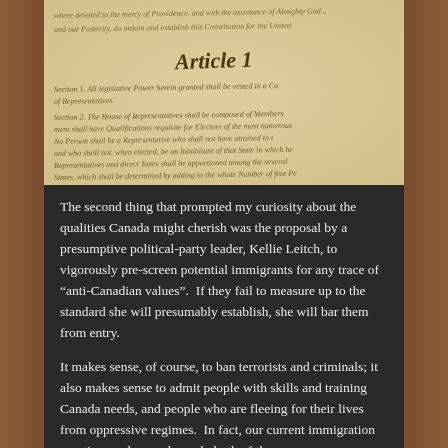[Figure (photo): Aged parchment showing handwritten text of the U.S. Constitution, Article 1, with cursive script visible including 'Article 1', 'Section 1. All legislative Power herein granted shall be vested in a Congress...' and 'Section 2. The House of Representatives shall be composed of Members...']
The second thing that prompted my curiosity about the qualities Canada might cherish was the proposal by a presumptive political-party leader, Kellie Leitch, to vigorously pre-screen potential immigrants for any trace of “anti-Canadian values”.  If they fail to measure up to the standard she will presumably establish, she will bar them from entry.
It makes sense, of course, to ban terrorists and criminals; it also makes sense to admit people with skills and training Canada needs, and people who are fleeing for their lives from oppressive regimes.  In fact, our current immigration practices and procedures do both of those